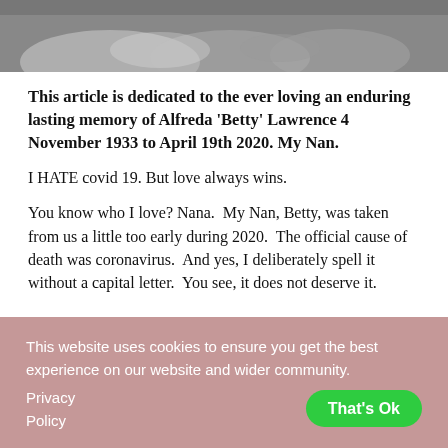[Figure (photo): Black and white photograph showing elderly hands clasped together, cropped to show just the hands at the top of the page.]
This article is dedicated to the ever loving an enduring lasting memory of Alfreda 'Betty' Lawrence 4 November 1933 to April 19th 2020. My Nan.
I HATE covid 19. But love always wins.
You know who I love? Nana.  My Nan, Betty, was taken from us a little too early during 2020.  The official cause of death was coronavirus.  And yes, I deliberately spell it without a capital letter.  You see, it does not deserve it.
This website uses cookies to ensure you get the best experience on our website and wider community.
Privacy Policy
That's Ok